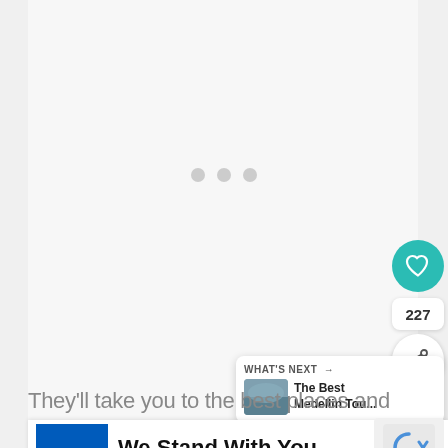[Figure (screenshot): Website screenshot showing a loading state with three grey dots in the center, a teal heart/like button showing 227 likes, a share button, and a 'What's Next' panel showing 'The Best Medellin Tou...' article thumbnail. Bottom portion shows partial text 'They'll take you to the best places and' and a Ukrainian flag banner with bold text 'We Stand With You' and a close button.]